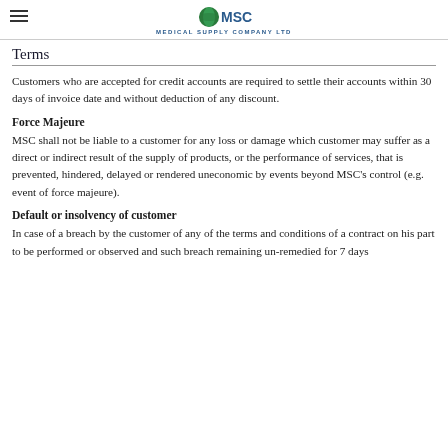MSC Medical Supply Company Ltd
Terms
Customers who are accepted for credit accounts are required to settle their accounts within 30 days of invoice date and without deduction of any discount.
Force Majeure
MSC shall not be liable to a customer for any loss or damage which customer may suffer as a direct or indirect result of the supply of products, or the performance of services, that is prevented, hindered, delayed or rendered uneconomic by events beyond MSC's control (e.g. event of force majeure).
Default or insolvency of customer
In case of a breach by the customer of any of the terms and conditions of a contract on his part to be performed or observed and such breach remaining un-remedied for 7 days